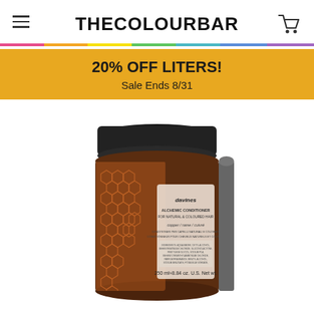THE COLOUR BAR
20% OFF LITERS!
Sale Ends 8/31
[Figure (photo): Davines Alchemic Conditioner for Natural & Coloured Hair in Copper shade, 250ml / 8.84 oz jar with black lid and amber colored body with copper honeycomb pattern label]